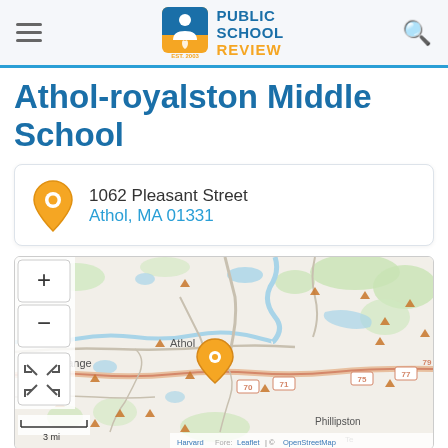Public School Review
Athol-royalston Middle School
1062 Pleasant Street
Athol, MA 01331
[Figure (map): Street map showing location of Athol-royalston Middle School at 1062 Pleasant Street, Athol MA 01331. Map shows the Athol area with surrounding towns including Orange and Phillipston. An orange location pin marks the school. Roads 70, 71, 75, 77, 79 are visible. Scale shows 3 miles. Attribution: Leaflet | © OpenStreetMap.]